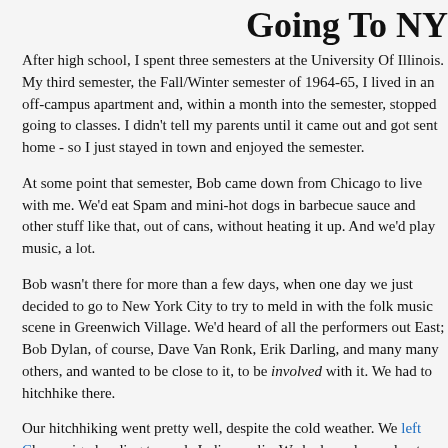Going To NY
After high school, I spent three semesters at the University Of Illinois. My third semester, the Fall/Winter semester of 1964-65, I lived in an off-campus apartment and, within a month into the semester, stopped going to classes. I didn't tell my parents until it came out and got sent home - so I just stayed in town and enjoyed the semester.
At some point that semester, Bob came down from Chicago to live with me. We'd eat Spam and mini-hot dogs in barbecue sauce and other stuff like that, out of cans, without heating it up. And we'd play music, a lot.
Bob wasn't there for more than a few days, when one day we just decided to go to New York City to try to meld in with the folk music scene in Greenwich Village. We'd heard of all the performers out East; Bob Dylan, of course, Dave Van Ronk, Erik Darling, and many many others, and wanted to be close to it, to be involved with it. We had to hitchhike there.
Our hitchhiking went pretty well, despite the cold weather. We left Champaign heading towards Indianapolis. We had no plan and not much money, but we found that, consistently, people would stop to pick us up and ask us where we were going, we'd say New York, go as far as they could take us in the general direction of New York City. We got as far as Indianapolis, with the highway bypasses going around the city to the east, and found ourselves walking there, east, of course.
Eventually we got picked up by a traveling salesman in a Volkswagen Bug who'd go east (but not to New York City). With the three of us, his suitcases, and